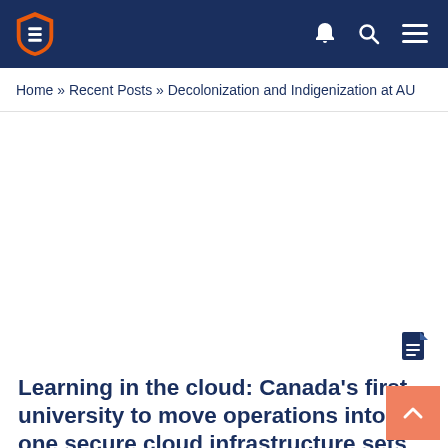Navigation bar with shield logo and icons (bell, search, menu)
Home » Recent Posts » Decolonization and Indigenization at AU
[Figure (photo): Blank/white image area (article featured image placeholder)]
Learning in the cloud: Canada's first university to move operations into one secure cloud infrastructure sets the stage for the future of learning